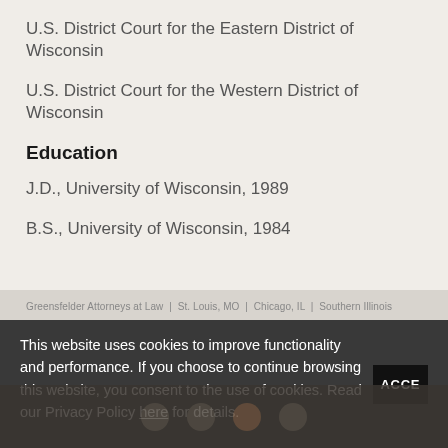U.S. District Court for the Eastern District of Wisconsin
U.S. District Court for the Western District of Wisconsin
Education
J.D., University of Wisconsin, 1989
B.S., University of Wisconsin, 1984
Greensfelder Attorneys at Law | St. Louis, MO | Chicago, IL | Southern Illinois
This website uses cookies to improve functionality and performance. If you choose to continue browsing this website, you consent to the use of cookies. Read our Privacy Policy here for details.